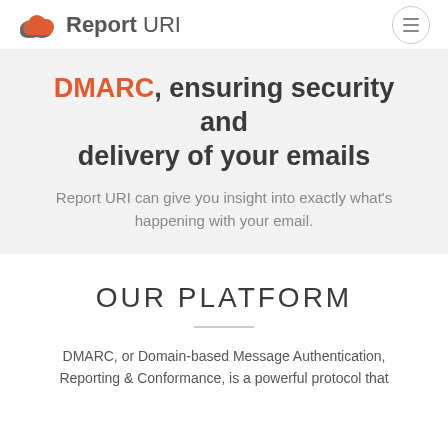Report URI
DMARC, ensuring security and delivery of your emails
Report URI can give you insight into exactly what's happening with your email.
OUR PLATFORM
DMARC, or Domain-based Message Authentication, Reporting & Conformance, is a powerful protocol that